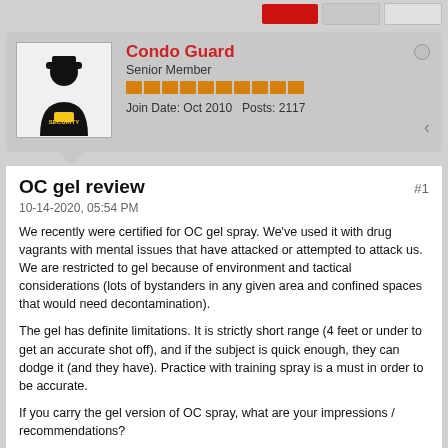Condo Guard
Senior Member
Join Date: Oct 2010   Posts: 2117
OC gel review
#1
10-14-2020, 05:54 PM
We recently were certified for OC gel spray. We've used it with drug vagrants with mental issues that have attacked or attempted to attack us. We are restricted to gel because of environment and tactical considerations (lots of bystanders in any given area and confined spaces that would need decontamination).
The gel has definite limitations. It is strictly short range (4 feet or under to get an accurate shot off), and if the subject is quick enough, they can dodge it (and they have). Practice with training spray is a must in order to be accurate.
If you carry the gel version of OC spray, what are your impressions / recommendations?
Tags: None